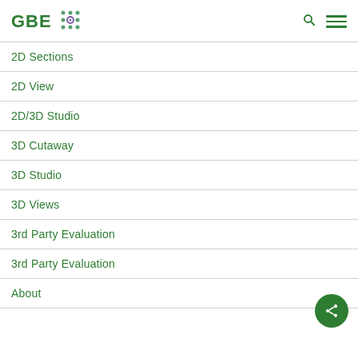GBE
2D Sections
2D View
2D/3D Studio
3D Cutaway
3D Studio
3D Views
3rd Party Evaluation
3rd Party Evaluation
About